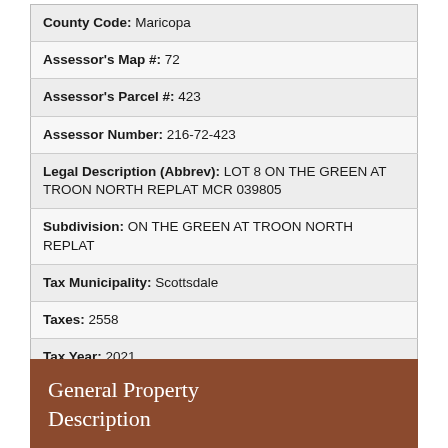| County Code: Maricopa |
| Assessor's Map #: 72 |
| Assessor's Parcel #: 423 |
| Assessor Number: 216-72-423 |
| Legal Description (Abbrev): LOT 8 ON THE GREEN AT TROON NORTH REPLAT MCR 039805 |
| Subdivision: ON THE GREEN AT TROON NORTH REPLAT |
| Tax Municipality: Scottsdale |
| Taxes: 2558 |
| Tax Year: 2021 |
General Property Description